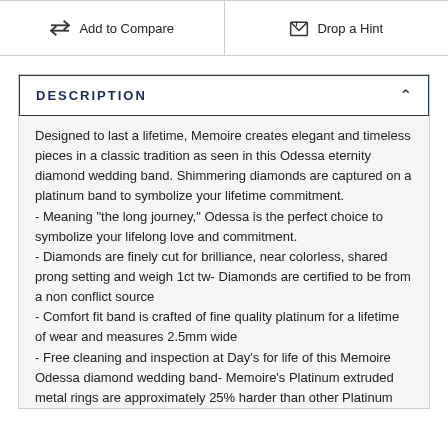Add to Compare
Drop a Hint
DESCRIPTION
Designed to last a lifetime, Memoire creates elegant and timeless pieces in a classic tradition as seen in this Odessa eternity diamond wedding band. Shimmering diamonds are captured on a platinum band to symbolize your lifetime commitment.
- Meaning "the long journey," Odessa is the perfect choice to symbolize your lifelong love and commitment.
- Diamonds are finely cut for brilliance, near colorless, shared prong setting and weigh 1ct tw- Diamonds are certified to be from a non conflict source
- Comfort fit band is crafted of fine quality platinum for a lifetime of wear and measures 2.5mm wide
- Free cleaning and inspection at Day's for life of this Memoire Odessa diamond wedding band- Memoire's Platinum extruded metal rings are approximately 25% harder than other Platinum